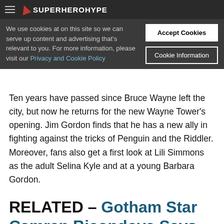SuperHeroHype
We use cookies at on this site so we can serve up content and advertising that's relevant to you. For more information, please visit our Privacy and Cookie Policy
Accept Cookies
Cookie Information
Ten years have passed since Bruce Wayne left the city, but now he returns for the new Wayne Tower's opening. Jim Gordon finds that he has a new ally in fighting against the tricks of Penguin and the Riddler. Moreover, fans also get a first look at Lili Simmons as the adult Selina Kyle and at a young Barbara Gordon.
RELATED – Gotham Star Camren Bicondova Says Goodbye To Selina Kyle